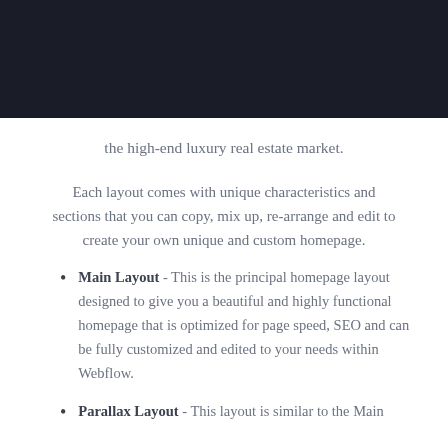[Figure (other): Dark navy/black header banner area at top of page]
the high-end luxury real estate market.
Each layout comes with unique characteristics and sections that you can copy, mix up, re-arrange and edit to create your own unique and custom homepage.
Main Layout - This is the principal homepage layout designed to give you a beautiful and highly functional homepage that is optimized for page speed, SEO and can be fully customized and edited to your needs within Webflow.
Parallax Layout - This layout is similar to the Main